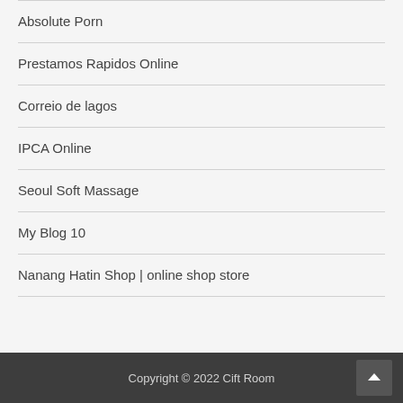Absolute Porn
Prestamos Rapidos Online
Correio de lagos
IPCA Online
Seoul Soft Massage
My Blog 10
Nanang Hatin Shop | online shop store
Copyright © 2022 Cift Room